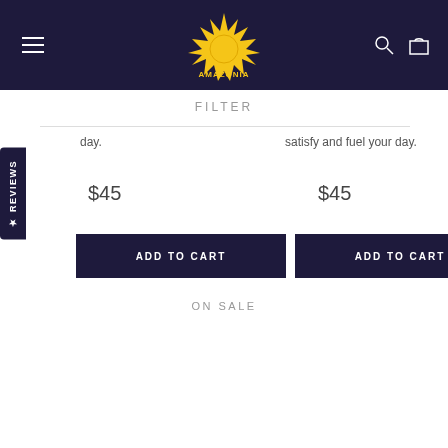[Figure (logo): Amazonia sun logo with yellow sunburst and text AMAZONIA on dark navy header bar]
FILTER
day.
satisfy and fuel your day.
$45
$45
ADD TO CART
ADD TO CART
ON SALE
★ REVIEWS